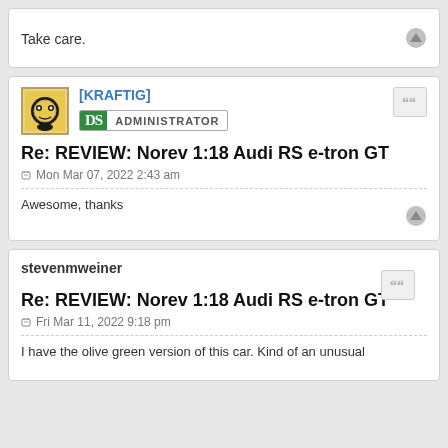Take care.
[KRAFTIG]
[Figure (illustration): DS Administrator badge with green DS logo and ADMINISTRATOR text]
Re: REVIEW: Norev 1:18 Audi RS e-tron GT
Mon Mar 07, 2022 2:43 am
Awesome, thanks
stevenmweiner
Re: REVIEW: Norev 1:18 Audi RS e-tron GT
Fri Mar 11, 2022 9:18 pm
I have the olive green version of this car. Kind of an unusual